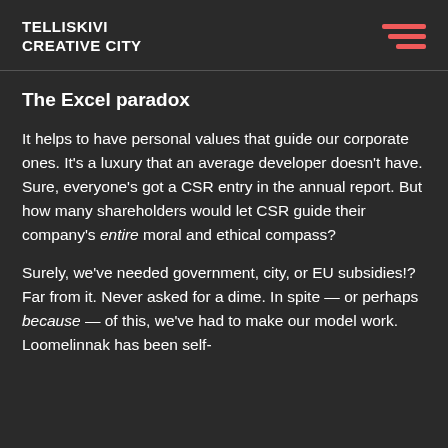TELLISKIVI CREATIVE CITY
The Excel paradox
It helps to have personal values that guide our corporate ones. It's a luxury that an average developer doesn't have. Sure, everyone's got a CSR entry in the annual report. But how many shareholders would let CSR guide their company's entire moral and ethical compass?
Surely, we've needed government, city, or EU subsidies!? Far from it. Never asked for a dime. In spite — or perhaps because — of this, we've had to make our model work. Loomelinnak has been self-